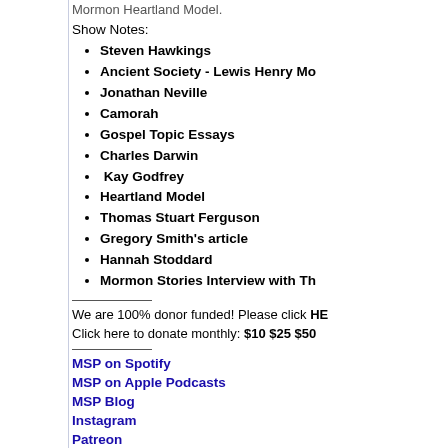Mormon Heartland Model.
Show Notes:
Steven Hawkings
Ancient Society - Lewis Henry Mo…
Jonathan Neville
Camorah
Gospel Topic Essays
Charles Darwin
Kay Godfrey
Heartland Model
Thomas Stuart Ferguson
Gregory Smith's article
Hannah Stoddard
Mormon Stories Interview with Th…
We are 100% donor funded! Please click HERE
Click here to donate monthly: $10 $25 $50
MSP on Spotify
MSP on Apple Podcasts
MSP Blog
Instagram
Patreon
TikTok
Discord